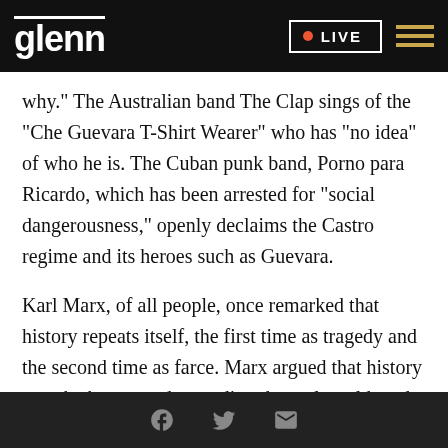glenn | LIVE
why." The Australian band The Clap sings of the "Che Guevara T-Shirt Wearer" who has "no idea" of who he is. The Cuban punk band, Porno para Ricardo, which has been arrested for "social dangerousness," openly declaims the Castro regime and its heroes such as Guevara.
Karl Marx, of all people, once remarked that history repeats itself, the first time as tragedy and the second time as farce. Marx argued that history was the key to understanding the real world, and history is certainly no friend to Che Guevara. If his younger
Facebook | Twitter | Email